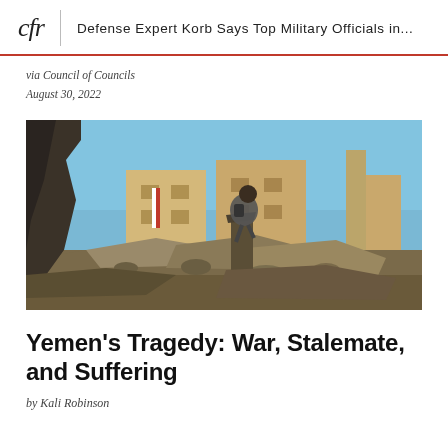cfr | Defense Expert Korb Says Top Military Officials in...
via Council of Councils
August 30, 2022
[Figure (photo): A person with a backpack sits on war rubble in front of damaged multi-story buildings under a blue sky, viewed through a broken wall opening.]
Yemen's Tragedy: War, Stalemate, and Suffering
by Kali Robinson